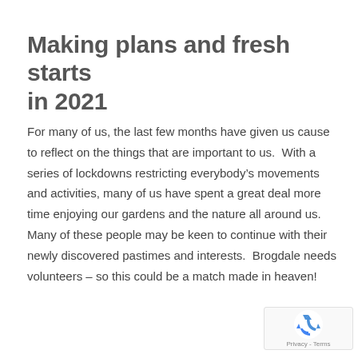Making plans and fresh starts in 2021
For many of us, the last few months have given us cause to reflect on the things that are important to us.  With a series of lockdowns restricting everybody's movements and activities, many of us have spent a great deal more time enjoying our gardens and the nature all around us.   Many of these people may be keen to continue with their newly discovered pastimes and interests.  Brogdale needs volunteers – so this could be a match made in heaven!
[Figure (other): reCAPTCHA badge with recycling arrows icon and Privacy - Terms text]